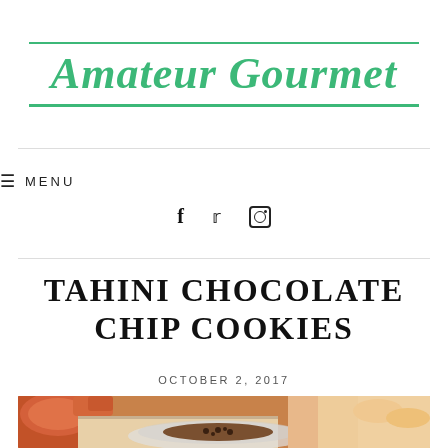Amateur Gourmet
≡ MENU
f  𝕿  ◉
TAHINI CHOCOLATE CHIP COOKIES
OCTOBER 2, 2017
[Figure (photo): Hands holding a plate with tahini chocolate chip cookies, baking tray visible in background with orange mixing bowl]